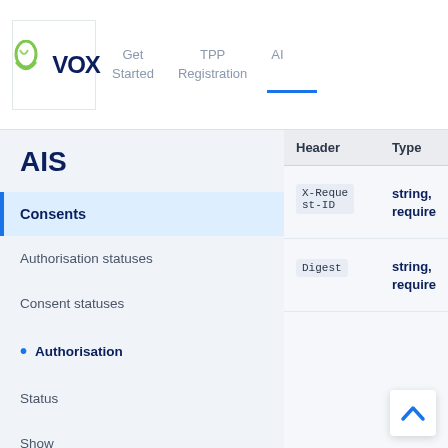VOX — Get Started | TPP Registration | AI
AIS
Consents
Authorisation statuses
Consent statuses
Authorisation
Status
Show
| Header | Type |
| --- | --- |
| X-Request-ID | string, required |
| Digest | string, required |